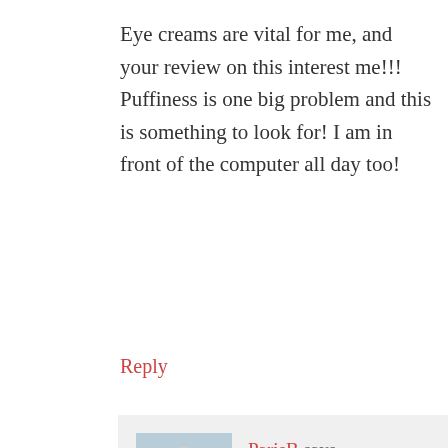Eye creams are vital for me, and your review on this interest me!!! Puffiness is one big problem and this is something to look for! I am in front of the computer all day too!
Reply
ParisB says
January 15, 2009 at 10:20 am
Hi Nikki, I hated using eye creams until now, because of the oiliness around the eyes. I'm not sure if Mukti is sold in PH